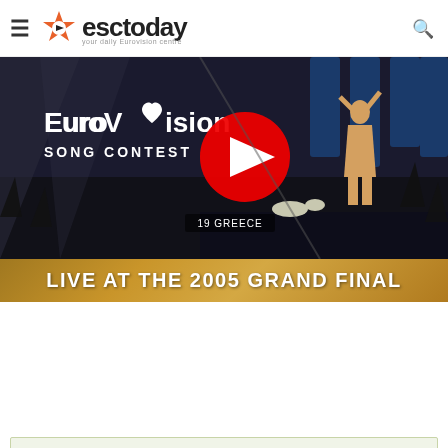esctoday – your daily Eurovision centre
[Figure (screenshot): Eurovision Song Contest YouTube video thumbnail showing a performer on stage at the 2005 Grand Final, with the Eurovision Song Contest logo on the left and a YouTube play button in the center. Text overlay reads '19 GREECE'.]
LIVE AT THE 2005 GRAND FINAL
ESCToday is growing and always looks for new members